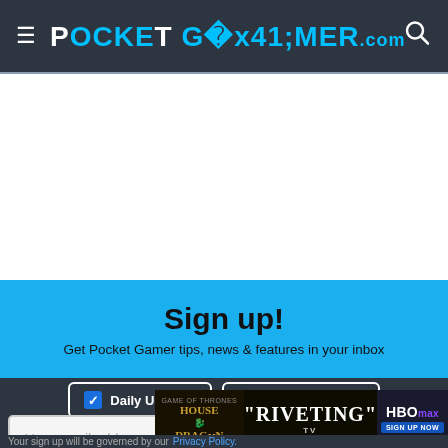POCKET GAMER .com
[Figure (screenshot): White blank content area below header]
Sign up!
Get Pocket Gamer tips, news & features in your inbox
Daily Updates | Weekly Updates (checkboxes)
Your email address
SIGN ME UP
[Figure (screenshot): Ad overlay: House of the Dragon - RIVETING TV - HBO Max Sign Up Now]
Your sign up will be governed by our Privacy Policy.